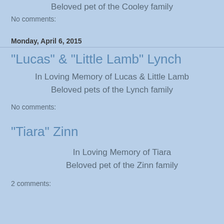Beloved pet of the Cooley family
No comments:
Monday, April 6, 2015
"Lucas" & "Little Lamb" Lynch
In Loving Memory of Lucas & Little Lamb
Beloved pets of the Lynch family
No comments:
"Tiara" Zinn
In Loving Memory of Tiara
Beloved pet of the Zinn family
2 comments: